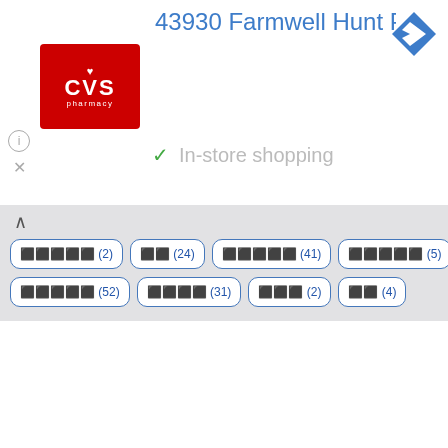43930 Farmwell Hunt Plaza, Ash..
✓ In-store shopping
□□□□□ (2)
□□ (24)
□□□□□ (41)
□□□□□ (5)
□□□□□ (5)
□□□□□ (52)
□□□□ (31)
□□□ (2)
□□ (4)
Back to Top
About
□□□□□□
□□□□□
□□□□□□□□□□
© Copyright 2022 pystyle.